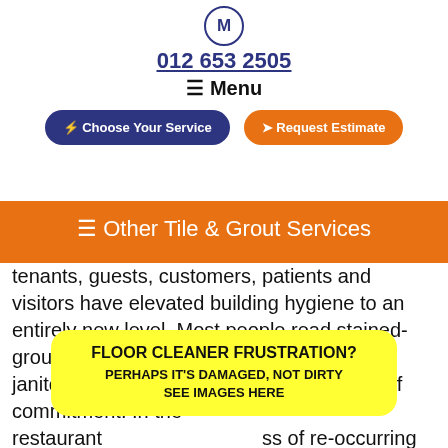M logo, 012 653 2505, Menu
[Figure (screenshot): Navigation header with M logo, phone number 012 653 2505, Menu, Choose Your Service button (dark blue), Request Estimate button (orange)]
☰ Other Tile & Grout Services
tenants, guests, customers, patients and visitors have elevated building hygiene to an entirely new level. Most people read stained-grout as dirty-grout and perceive this as a janitorial failure or a building manage lack of commitment. In the restaurant ss of re-occurring i tive reviews. In this translates to turnover and elevated vacancies
[Figure (infographic): Yellow popup box: FLOOR CLEANER FRUSTRATION? PERHAPS IT'S DAMAGED, NOT DIRTY SEE IMAGES HERE]